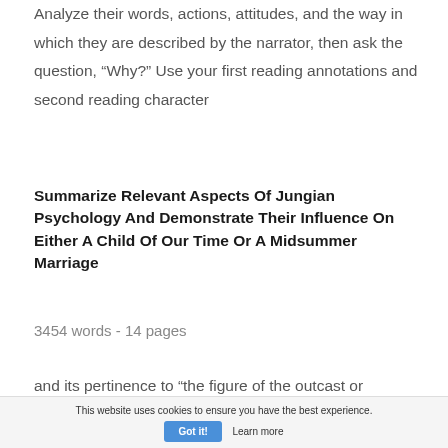Analyze their words, actions, attitudes, and the way in which they are described by the narrator, then ask the question, “Why?” Use your first reading annotations and second reading character
Summarize Relevant Aspects Of Jungian Psychology And Demonstrate Their Influence On Either A Child Of Our Time Or A Midsummer Marriage
3454 words - 14 pages
and its pertinence to “the figure of the outcast or
This website uses cookies to ensure you have the best experience.